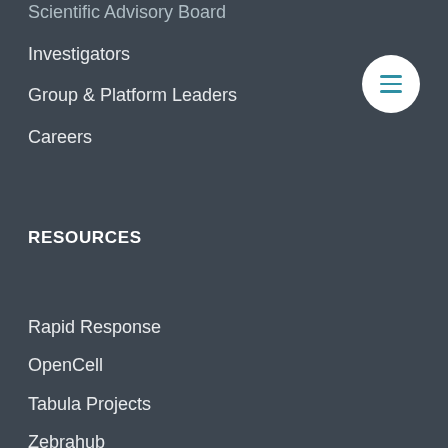Scientific Advisory Board
Investigators
Group & Platform Leaders
Careers
[Figure (other): Hamburger menu button — circular white button with three teal horizontal lines]
RESOURCES
Rapid Response
OpenCell
Tabula Projects
Zebrahub
CZ CELLxGENE
CZ ID
CZ GEN EPI
DASHit